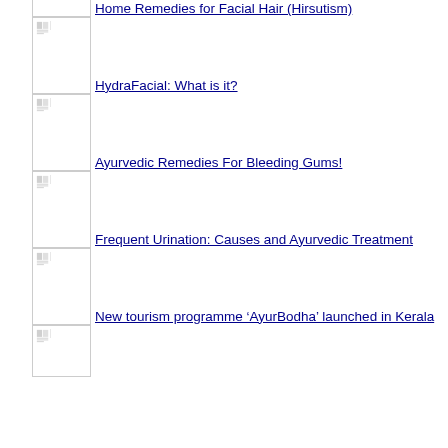Home Remedies for Facial Hair (Hirsutism)
HydraFacial: What is it?
Ayurvedic Remedies For Bleeding Gums!
Frequent Urination: Causes and Ayurvedic Treatment
New tourism programme ‘AyurBodha’ launched in Kerala